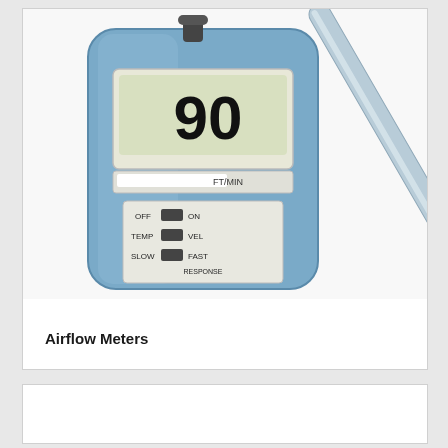[Figure (photo): Product photograph of two airflow meter devices: a handheld blue digital anemometer showing '90 FT/MIN' on its LCD display with OFF/ON, TEMP/VEL, SLOW/FAST RESPONSE switches, and a long metal probe/wand extending diagonally to the upper right.]
Airflow Meters